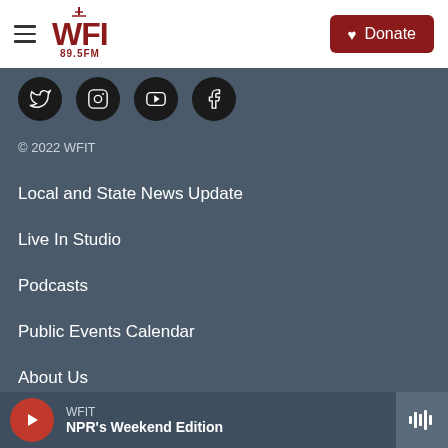WFIT 89.5FM — Navigation bar with Donate button
[Figure (other): Social media icons row: Twitter, Instagram, YouTube, Facebook — dark circular buttons on slate background]
© 2022 WFIT
Local and State News Update
Live In Studio
Podcasts
Public Events Calendar
About Us
Contact Us
WFIT — NPR's Weekend Edition (player bar)